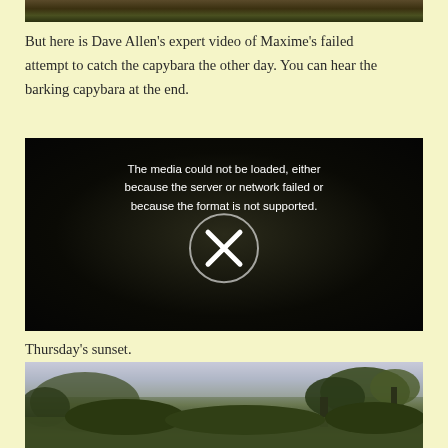[Figure (photo): Top portion of a nature/wildlife photo showing vegetation, partially cropped at top of page]
But here is Dave Allen’s expert video of Maxime's failed attempt to catch the capybara the other day. You can hear the barking capybara at the end.
[Figure (screenshot): Video player showing error message: The media could not be loaded, either because the server or network failed or because the format is not supported. Shows an X in a circle icon over a dark outdoor scene.]
Thursday’s sunset.
[Figure (photo): Sunset photo showing silhouetted trees against a pale sky, with dense tropical vegetation in foreground]